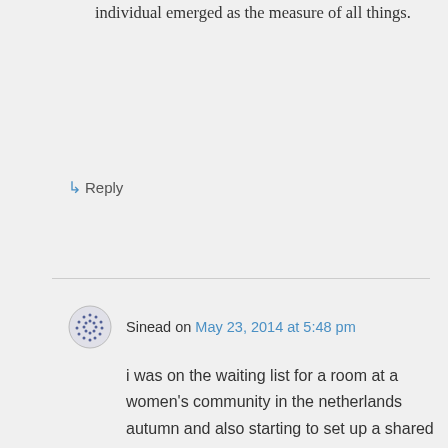individual emerged as the measure of all things.
↳ Reply
Sinead on May 23, 2014 at 5:48 pm
i was on the waiting list for a room at a women's community in the netherlands autumn and also starting to set up a shared house in amsterdam but am now moving back to ireland, so these won't be going ahead. shared housing is quite popular in the netherlands and there are plenty of buildings that suit